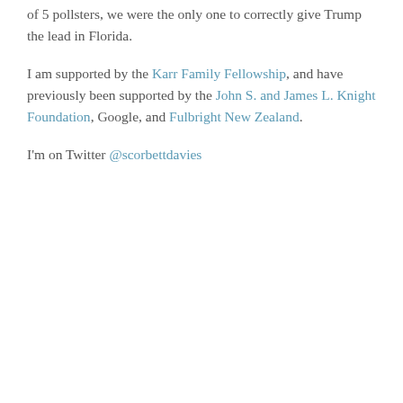of 5 pollsters, we were the only one to correctly give Trump the lead in Florida.
I am supported by the Karr Family Fellowship, and have previously been supported by the John S. and James L. Knight Foundation, Google, and Fulbright New Zealand.
I'm on Twitter @scorbettdavies